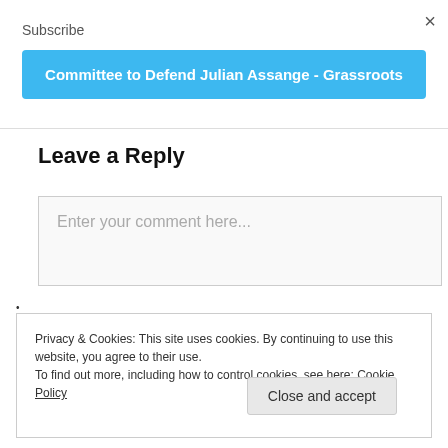×
Subscribe
Committee to Defend Julian Assange - Grassroots
Leave a Reply
Enter your comment here...
•
Privacy & Cookies: This site uses cookies. By continuing to use this website, you agree to their use.
To find out more, including how to control cookies, see here: Cookie Policy
Close and accept